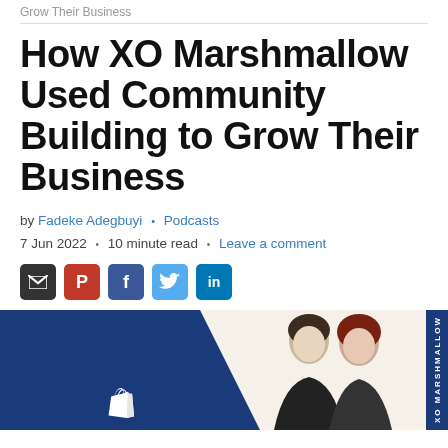Grow Their Business
How XO Marshmallow Used Community Building to Grow Their Business
by Fadeke Adegbuyi • Podcasts
7 Jun 2022 • 10 minute read • Leave a comment
[Figure (illustration): Social media sharing icons: email (dark), Pinterest (red), Facebook (blue), Twitter (light blue), LinkedIn (blue)]
[Figure (photo): Hero image with dark blue background on left featuring a Shopify bag icon, and two women (brunette and red-haired) posing together on right against a beige background. XO MARSHMALLOW watermark on far right edge.]